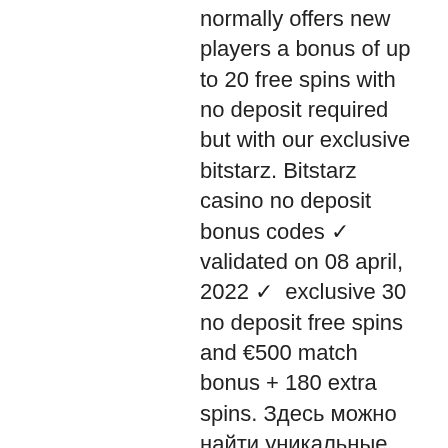normally offers new players a bonus of up to 20 free spins with no deposit required but with our exclusive bitstarz. Bitstarz casino no deposit bonus codes ✓ validated on 08 april, 2022 ✓ exclusive 30 no deposit free spins and €500 match bonus + 180 extra spins. Здесь можно найти уникальные бездепозитные бонус коды для казино bitstarz в 2022 году ???? Пошаговое руководство по активации промокодов для битстарз для. Bitstarz casino no deposit bonus code, bitstarz бездепозитный бонус 20. Разумеется, вводить промокод битстарз casino нет никакой необходимости. Ведь все начисляется автоматически. Однако в bitstarz бонусный код могут получить только. Bitstarz casino codes and bonuses may 28, 2019 by nina. 100% uo to $10,000 or 5 btc +. Roobet referral promo code 2021 (free roowards. 42 results — find the. Bitstarz casino bonus code 2022 moonwax. Bitstarz referral